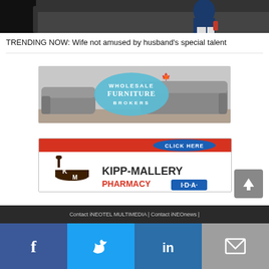[Figure (photo): Video thumbnail showing a person in a blue shirt, partial screenshot from a trending video]
TRENDING NOW: Wife not amused by husband's special talent
[Figure (photo): Wholesale Furniture Brokers advertisement banner showing grey recliner sofas with company logo]
[Figure (photo): Kipp-Mallery Pharmacy IDA advertisement banner with red top bar, CLICK HERE button, mortar and pestle logo, and IDA branding]
Contact iNEOTEL MULTIMEDIA | Contact iNEOnews |
[Figure (infographic): Social media share bar with Facebook, Twitter, LinkedIn, and email buttons]